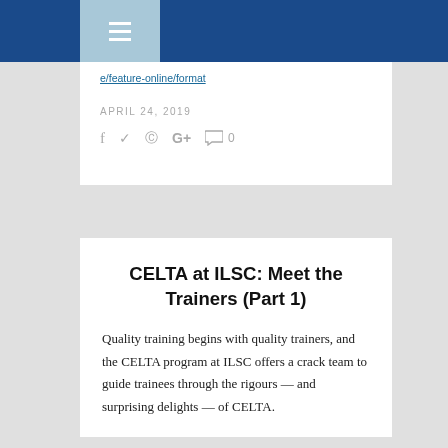Navigation bar with hamburger menu
e/feature-online/format
APRIL 24, 2019
f  ♥  ®  G+  ○ 0
CELTA at ILSC: Meet the Trainers (Part 1)
Quality training begins with quality trainers, and the CELTA program at ILSC offers a crack team to guide trainees through the rigours — and surprising delights — of CELTA.